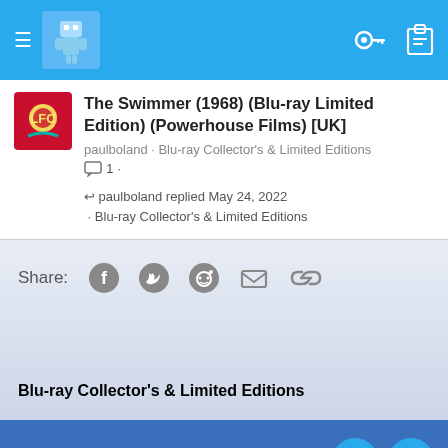Navigation bar with hamburger menu, avatar, key and clipboard icons
The Swimmer (1968) (Blu-ray Limited Edition) (Powerhouse Films) [UK]
paulboland · Blu-ray Collector's & Limited Editions
1 comment
paulboland replied May 24, 2022 · Blu-ray Collector's & Limited Editions
Share:
Blu-ray Collector's & Limited Editions
Forum statistics